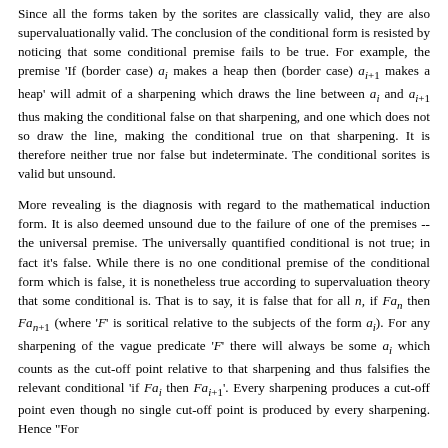Since all the forms taken by the sorites are classically valid, they are also supervaluationally valid. The conclusion of the conditional form is resisted by noticing that some conditional premise fails to be true. For example, the premise 'If (border case) a_i makes a heap then (border case) a_{i+1} makes a heap' will admit of a sharpening which draws the line between a_i and a_{i+1} thus making the conditional false on that sharpening, and one which does not so draw the line, making the conditional true on that sharpening. It is therefore neither true nor false but indeterminate. The conditional sorites is valid but unsound.
More revealing is the diagnosis with regard to the mathematical induction form. It is also deemed unsound due to the failure of one of the premises -- the universal premise. The universally quantified conditional is not true; in fact it's false. While there is no one conditional premise of the conditional form which is false, it is nonetheless true according to supervaluation theory that some conditional is. That is to say, it is false that for all n, if Fa_n then Fa_{n+1} (where 'F' is soritical relative to the subjects of the form a_i). For any sharpening of the vague predicate 'F' there will always be some a_i which counts as the cut-off point relative to that sharpening and thus falsifies the relevant conditional 'if Fa_i then Fa_{i+1}'. Every sharpening produces a cut-off point even though no single cut-off point is produced by every sharpening. Hence "For...